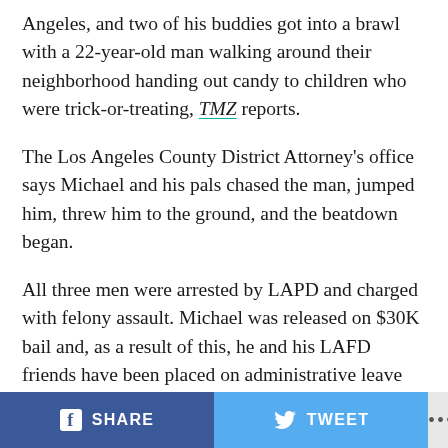Angeles, and two of his buddies got into a brawl with a 22-year-old man walking around their neighborhood handing out candy to children who were trick-or-treating, TMZ reports.
The Los Angeles County District Attorney's office says Michael and his pals chased the man, jumped him, threw him to the ground, and the beatdown began.
All three men were arrested by LAPD and charged with felony assault. Michael was released on $30K bail and, as a result of this, he and his LAFD friends have been placed on administrative leave with pay while the case is underway.
If convicted, Michael and his buddies face up to four years in prison.
SHARE  TWEET  ...